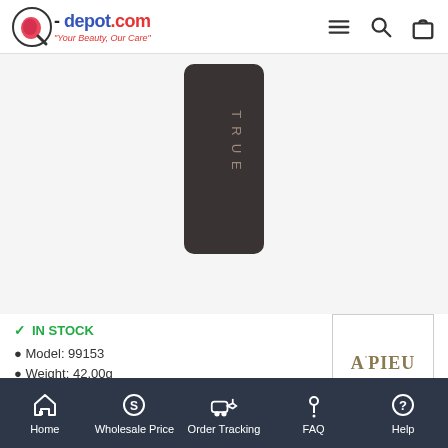q-depot.com — Your Beauty, Our Care
[Figure (photo): Dark/black rectangular product (appears to be a cosmetic compact or lipstick case) with 'TRUE' text written vertically on it, displayed against a light gray background]
IN STOCK
Model: 99153
Weight: 42.00g
[Figure (logo): A'PIEU brand logo in a white box with border]
Home | Wholesale Price | Order Tracking | FAQ | Help